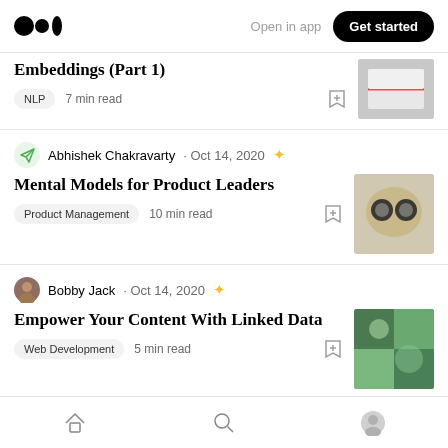Medium logo | Open in app | Get started
Embeddings (Part 1)
NLP   7 min read
Abhishek Chakravarty · Oct 14, 2020
Mental Models for Product Leaders
Product Management   10 min read
Bobby Jack · Oct 14, 2020
Empower Your Content With Linked Data
Web Development   5 min read
Home | Search | Profile